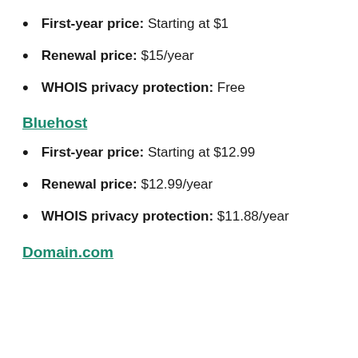First-year price: Starting at $1
Renewal price: $15/year
WHOIS privacy protection: Free
Bluehost
First-year price: Starting at $12.99
Renewal price: $12.99/year
WHOIS privacy protection: $11.88/year
Domain.com